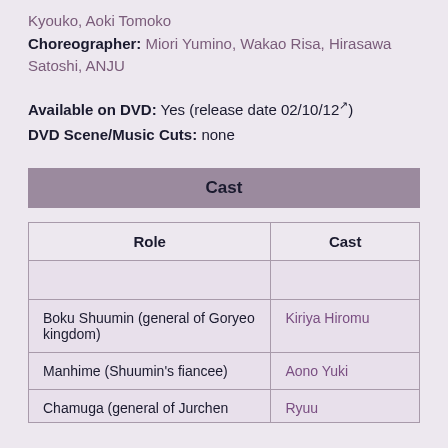Kyouko, Aoki Tomoko
Choreographer: Miori Yumino, Wakao Risa, Hirasawa Satoshi, ANJU
Available on DVD: Yes (release date 02/10/12)
DVD Scene/Music Cuts: none
Cast
| Role | Cast |
| --- | --- |
|  |  |
| Boku Shuumin (general of Goryeo kingdom) | Kiriya Hiromu |
| Manhime (Shuumin's fiancee) | Aono Yuki |
| Chamuga (general of Jurchen | Ryuu |